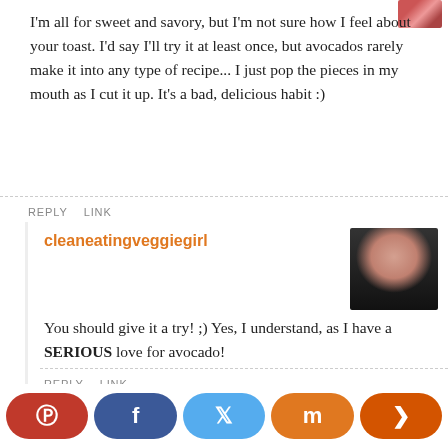[Figure (photo): Partial avatar image in top right corner]
I'm all for sweet and savory, but I'm not sure how I feel about your toast. I'd say I'll try it at least once, but avocados rarely make it into any type of recipe... I just pop the pieces in my mouth as I cut it up. It's a bad, delicious habit :)
REPLY   LINK
cleaneatingveggiegirl
[Figure (photo): Avatar photo of cleaneatingveggiegirl — woman with dark hair wearing red scarf]
You should give it a try! ;) Yes, I understand, as I have a SERIOUS love for avocado!
REPLY   LINK
Eating 4 Balance
[Figure (photo): Partial avatar photo in bottom right]
[Figure (infographic): Social sharing bar with Pinterest, Facebook, Twitter, Mix, and Share buttons]